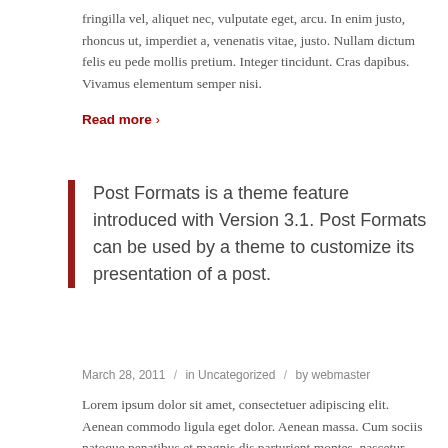fringilla vel, aliquet nec, vulputate eget, arcu. In enim justo, rhoncus ut, imperdiet a, venenatis vitae, justo. Nullam dictum felis eu pede mollis pretium. Integer tincidunt. Cras dapibus. Vivamus elementum semper nisi.
Read more >
Post Formats is a theme feature introduced with Version 3.1. Post Formats can be used by a theme to customize its presentation of a post.
March 28, 2011 / in Uncategorized / by webmaster
Lorem ipsum dolor sit amet, consectetuer adipiscing elit. Aenean commodo ligula eget dolor. Aenean massa. Cum sociis natoque penatibus et magnis dis parturient montes, nascetur ridiculus mus – more on WordPress.org: Post Formats